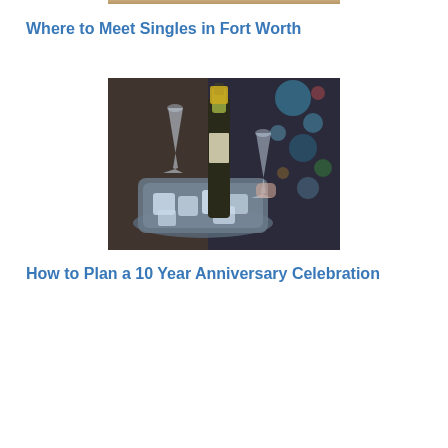Where to Meet Singles in Fort Worth
[Figure (photo): Champagne bottle in an ice bucket with crystal glasses, blurred bokeh lights in background]
How to Plan a 10 Year Anniversary Celebration